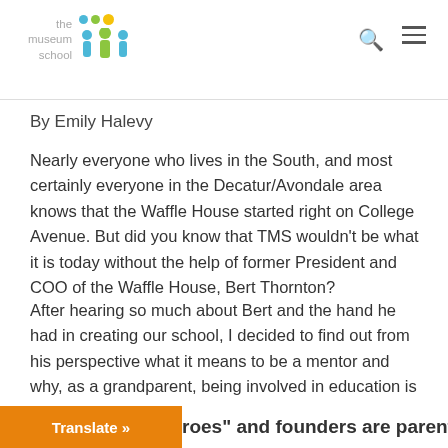the museum school
By Emily Halevy
Nearly everyone who lives in the South, and most certainly everyone in the Decatur/Avondale area knows that the Waffle House started right on College Avenue. But did you know that TMS wouldn't be what it is today without the help of former President and COO of the Waffle House, Bert Thornton?
After hearing so much about Bert and the hand he had in creating our school, I decided to find out from his perspective what it means to be a mentor and why, as a grandparent, being involved in education is so important to him.
roes" and founders are parents,